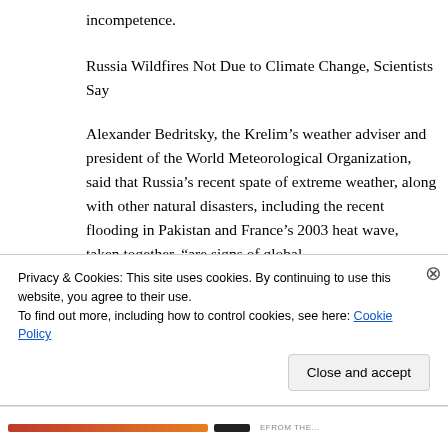incompetence.
Russia Wildfires Not Due to Climate Change, Scientists Say
Alexander Bedritsky, the Krelim’s weather adviser and president of the World Meteorological Organization, said that Russia’s recent spate of extreme weather, along with other natural disasters, including the recent flooding in Pakistan and France’s 2003 heat wave, taken together, “are signs of global
Privacy & Cookies: This site uses cookies. By continuing to use this website, you agree to their use.
To find out more, including how to control cookies, see here: Cookie Policy